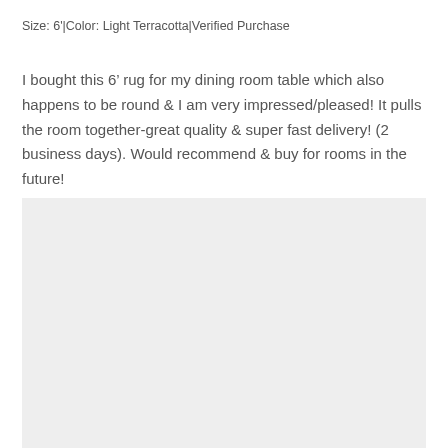Size: 6'|Color: Light Terracotta|Verified Purchase
I bought this 6’ rug for my dining room table which also happens to be round & I am very impressed/pleased! It pulls the room together-great quality & super fast delivery! (2 business days). Would recommend & buy for rooms in the future!
[Figure (photo): Light gray/blank photo placeholder area below the review text]